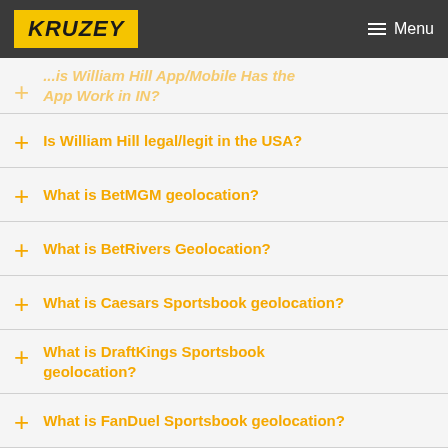KRUZEY | Menu
Is William Hill app/mobile app work in IN? App Work in IN?
Is William Hill legal/legit in the USA?
What is BetMGM geolocation?
What is BetRivers Geolocation?
What is Caesars Sportsbook geolocation?
What is DraftKings Sportsbook geolocation?
What is FanDuel Sportsbook geolocation?